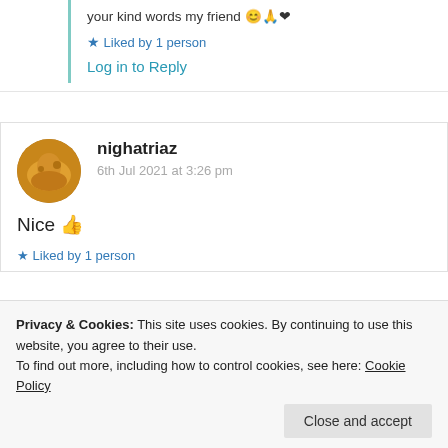your kind words my friend 😊🙏❤️
★ Liked by 1 person
Log in to Reply
nighatriaz
6th Jul 2021 at 3:26 pm
Nice 👍
★ Liked by 1 person
Privacy & Cookies: This site uses cookies. By continuing to use this website, you agree to their use. To find out more, including how to control cookies, see here: Cookie Policy
Close and accept